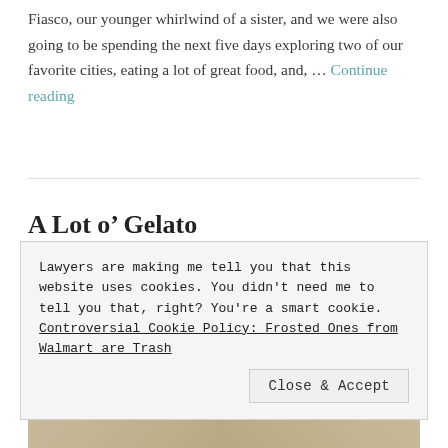Fiasco, our younger whirlwind of a sister, and we were also going to be spending the next five days exploring two of our favorite cities, eating a lot of great food, and, … Continue reading
A Lot o' Gelato
[Figure (photo): Selfie photo of two blonde women wearing sunglasses, taken from close range.]
Lawyers are making me tell you that this website uses cookies. You didn't need me to tell you that, right? You're a smart cookie. Controversial Cookie Policy: Frosted Ones from Walmart are Trash